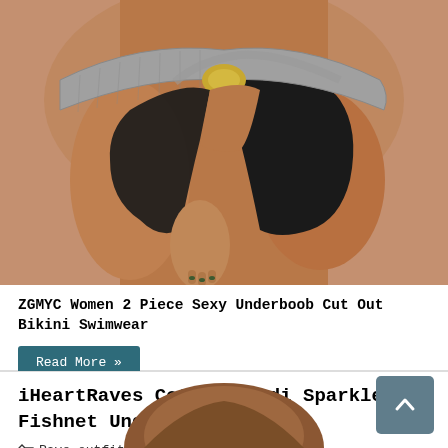[Figure (photo): Cropped photo of a woman wearing a black two-piece bikini swimwear with a silver/metallic cut-out belt detail at the waist, showing the midsection and hips]
ZGMYC Women 2 Piece Sexy Underboob Cut Out Bikini Swimwear
Read More »
iHeartRaves Cotton Kandi Sparkle Fishnet Underboob Top
Rave outfits
[Figure (photo): Partial photo of a woman's head/hair, bottom of image cropped]